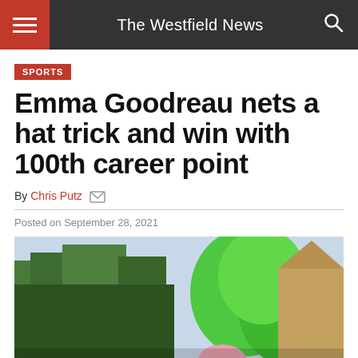The Westfield News
SPORTS
Emma Goodreau nets a hat trick and win with 100th career point
By Chris Putz
Posted on September 28, 2021
[Figure (photo): Photo of a person outdoors holding green balloons or wearing green costume, with trees in background]